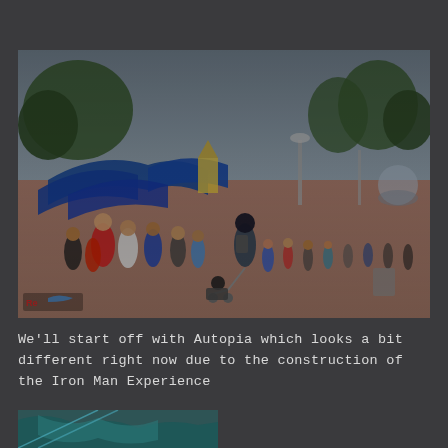[Figure (photo): Theme park walkway scene with crowds of visitors walking, blue wave-shaped canopy structures on the left, trees in the background, overcast sky. A person pushing a stroller is visible in the foreground. Small watermark/logo visible in bottom-left corner of photo.]
We'll start off with Autopia which looks a bit different right now due to the construction of the Iron Man Experience
[Figure (photo): Partial view of another theme park image, cropped at bottom of page, showing teal/blue structures.]